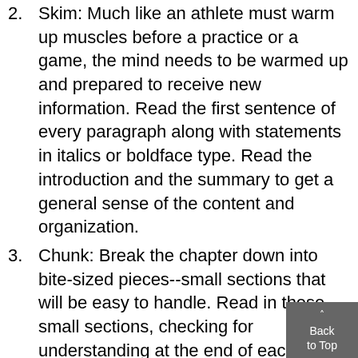2. Skim: Much like an athlete must warm up muscles before a practice or a game, the mind needs to be warmed up and prepared to receive new information. Read the first sentence of every paragraph along with statements in italics or boldface type. Read the introduction and the summary to get a general sense of the content and organization.
3. Chunk: Break the chapter down into bite-sized pieces--small sections that will be easy to handle. Read in these small sections, checking for understanding at the end of each.
4. Question: If your textbook has review questions at the end or if there is a study guide for the course, use these questions as a guide. Write each question out on a separate notebook page. You should take notes while you are reading. Generating answers to